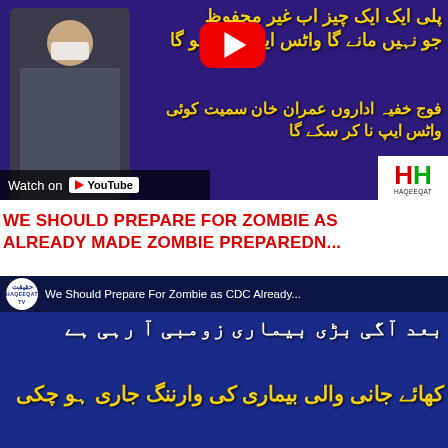[Figure (screenshot): YouTube video thumbnail showing a man in a mask and suit with Urdu text on purple background, YouTube play button visible, 'Watch on YouTube' bar at bottom left, Haqeeqat TV logo at bottom right]
WE SHOULD PREPARE FOR ZOMBIE AS CDC ALREADY MADE ZOMBIE PREPAREDN...
[Figure (screenshot): YouTube video thumbnail for 'We Should Prepare For Zombie as CDC Already...' with Haqeeqat TV logo, blue background with Urdu text in white and yellow]